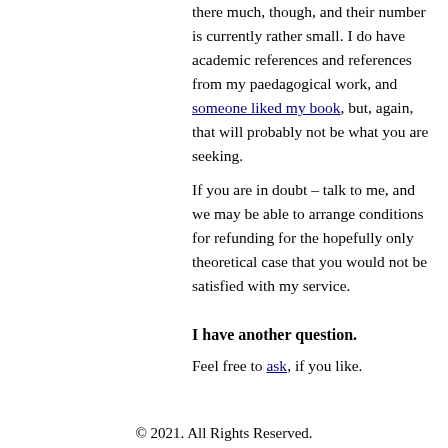there much, though, and their number is currently rather small. I do have academic references and references from my paedagogical work, and someone liked my book, but, again, that will probably not be what you are seeking.
If you are in doubt – talk to me, and we may be able to arrange conditions for refunding for the hopefully only theoretical case that you would not be satisfied with my service.
I have another question.
Feel free to ask, if you like.
© 2021. All Rights Reserved.